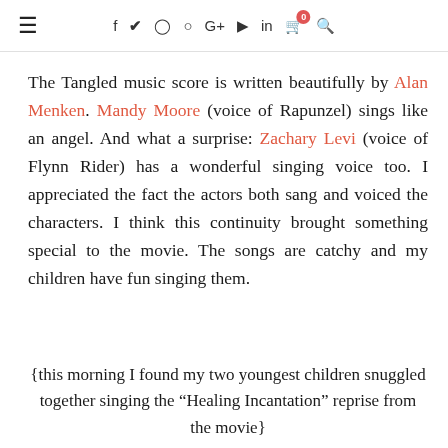≡  f  🐦  𝓘  𝓟  G+  ▶  in  🛒⁰  🔍
The Tangled music score is written beautifully by Alan Menken. Mandy Moore (voice of Rapunzel) sings like an angel. And what a surprise: Zachary Levi (voice of Flynn Rider) has a wonderful singing voice too. I appreciated the fact the actors both sang and voiced the characters. I think this continuity brought something special to the movie. The songs are catchy and my children have fun singing them.
{this morning I found my two youngest children snuggled together singing the “Healing Incantation” reprise from the movie}